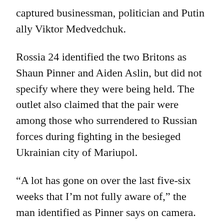captured businessman, politician and Putin ally Viktor Medvedchuk.
Rossia 24 identified the two Britons as Shaun Pinner and Aiden Aslin, but did not specify where they were being held. The outlet also claimed that the pair were among those who surrendered to Russian forces during fighting in the besieged Ukrainian city of Mariupol.
“A lot has gone on over the last five-six weeks that I’m not fully aware of,” the man identified as Pinner says on camera. “Obviously, I understand that Mr. Medvedchuk has been detained and we look for exchanging myself and Aiden Aislin for Mr. Medvedchuk.”